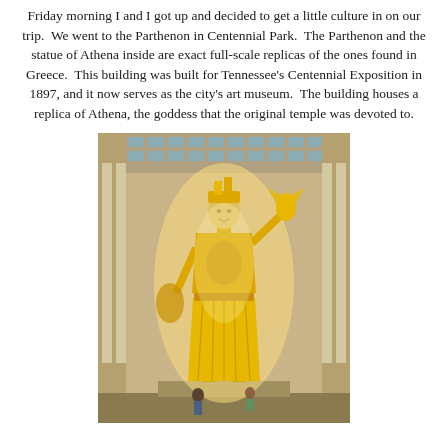Friday morning I and I got up and decided to get a little culture in on our trip. We went to the Parthenon in Centennial Park. The Parthenon and the statue of Athena inside are exact full-scale replicas of the ones found in Greece. This building was built for Tennessee's Centennial Exposition in 1897, and it now serves as the city's art museum. The building houses a replica of Athena, the goddess that the original temple was devoted to.
[Figure (photo): Interior photo of the Parthenon in Centennial Park, Nashville. A large golden statue of the goddess Athena stands tall inside the building, illuminated brightly. She wears a crown and holds a small winged figure in her outstretched right hand. White Greek columns line the sides of the interior. Small figures of people are visible at the base of the statue.]